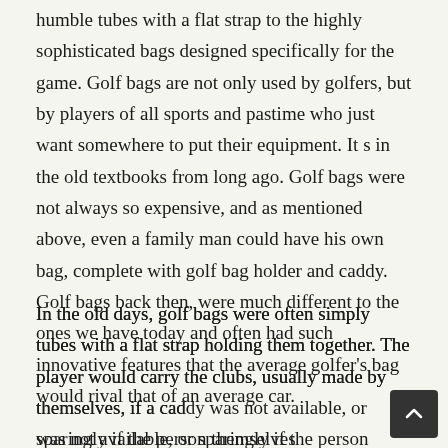humble tubes with a flat strap to the highly sophisticated bags designed specifically for the game. Golf bags are not only used by golfers, but by players of all sports and pastime who just want somewhere to put their equipment. It s in the old textbooks from long ago. Golf bags were not always so expensive, and as mentioned above, even a family man could have his own bag, complete with golf bag holder and caddy. Golf bags back then, were much different to the ones we have today and often had such innovative features that the average golfer's bag would rival that of an average car.
In the old days, golf bags were often simply tubes with a flat strap holding them together. The player would carry the clubs, usually made by themselves, if a caddy was not available, or sparingly if the person themselves